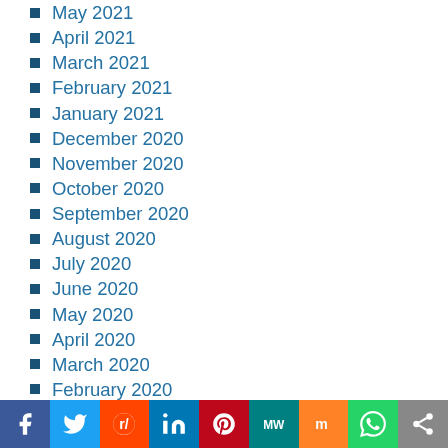May 2021
April 2021
March 2021
February 2021
January 2021
December 2020
November 2020
October 2020
September 2020
August 2020
July 2020
June 2020
May 2020
April 2020
March 2020
February 2020
January 2020
December 2019
November 2019
October 2019